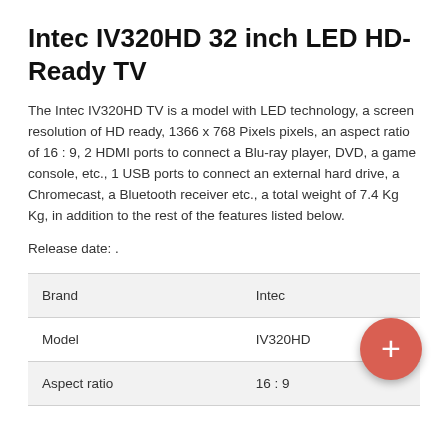Intec IV320HD 32 inch LED HD-Ready TV
The Intec IV320HD TV is a model with LED technology, a screen resolution of HD ready, 1366 x 768 Pixels pixels, an aspect ratio of 16 : 9, 2 HDMI ports to connect a Blu-ray player, DVD, a game console, etc., 1 USB ports to connect an external hard drive, a Chromecast, a Bluetooth receiver etc., a total weight of 7.4 Kg Kg, in addition to the rest of the features listed below.
Release date: .
|  |  |
| --- | --- |
| Brand | Intec |
| Model | IV320HD |
| Aspect ratio | 16 : 9 |